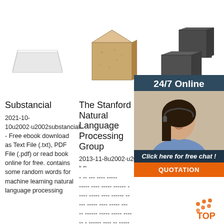[Figure (illustration): Three product images at top: white paper stack (left), tan/beige brick block (center), dark gray/charcoal blocks (right)]
Substancial
2021-10-10u2002·u2002substancial - Free ebook download as Text File (.txt), PDF File (.pdf) or read book online for free. contains some random words for machine learning natural language processing
The Stanford Natural Language Processing Group
2013-11-8u2002·u2002' " ''' - -- --- ---- ----- ----- ---- --- --- -- ----- ---- ----- ------ - ---- ----- ---- ------ -- --- ----- ---- ----- --- -- ------ ----- ----- ---- -- - ------ ---- -- ----- -- ----- ---- ----- ------ - ---- ----- ----- ------ --
MIT - Mass Institute of Technology
2007-1-18u2002 aa aaa aaacn aaas a aac aacc aace aachen aacom aacs aacsb aad aadvantage aae aaf aafp aag aah aai aaj aal aalborg
[Figure (photo): 24/7 Online overlay panel with photo of woman with headset, Click here for free chat button, and QUOTATION orange button]
[Figure (logo): TOP badge with orange dots in bottom right corner]